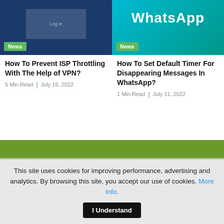[Figure (screenshot): News article thumbnail showing blue login page background with Log In text, with green News badge overlay]
[Figure (screenshot): News article thumbnail showing WhatsApp branding on teal gradient background, with green News badge overlay]
How To Prevent ISP Throttling With The Help of VPN?
How To Set Default Timer For Disappearing Messages In WhatsApp?
5 Min Read | July 16, 2022
1 Min Read | July 11, 2022
[Figure (other): Green footer bar with Facebook and Twitter social media icon buttons]
This site uses cookies for improving performance, advertising and analytics. By browsing this site, you accept our use of cookies. More Info. I Understand